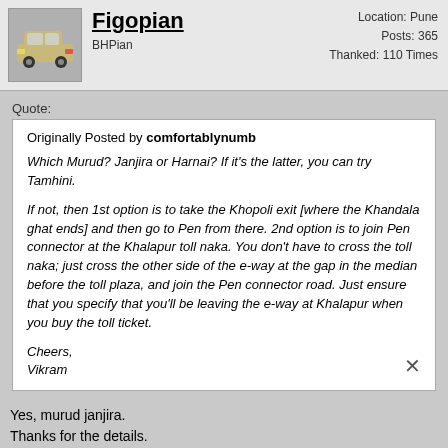Figopian
BHPian
Location: Pune
Posts: 365
Thanked: 110 Times
Quote:
Originally Posted by comfortablynumb

Which Murud? Janjira or Harnai? If it's the latter, you can try Tamhini.

If not, then 1st option is to take the Khopoli exit [where the Khandala ghat ends] and then go to Pen from there. 2nd option is to join Pen connector at the Khalapur toll naka. You don't have to cross the toll naka; just cross the other side of the e-way at the gap in the median before the toll plaza, and join the Pen connector road. Just ensure that you specify that you'll be leaving the e-way at Khalapur when you buy the toll ticket.

Cheers,
Vikram
Yes, murud janjira.
Thanks for the details.
Now do I have to go the other side of eway to get onto pen connector? Or it's on the same side?